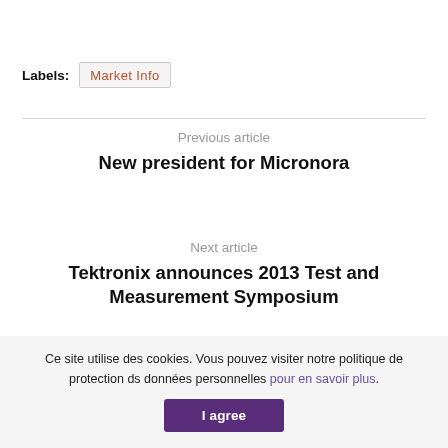Labels: Market Info
Previous article
New president for Micronora
Next article
Tektronix announces 2013 Test and Measurement Symposium
Ce site utilise des cookies. Vous pouvez visiter notre politique de protection ds données personnelles pour en savoir plus.